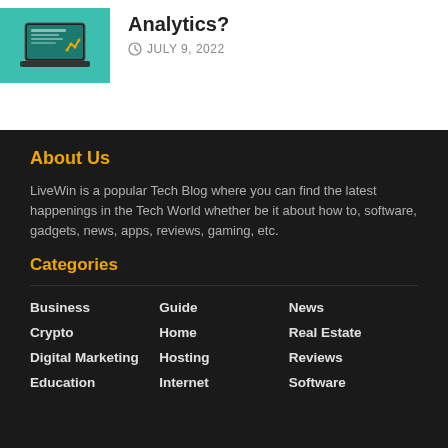[Figure (illustration): Thumbnail image showing a laptop with tech/analytics graphic on teal background]
Analytics?
JULY 9, 2022
About Us
LiveWin is a popular Tech Blog where you can find the latest happenings in the Tech World whether be it about how to, software, gadgets, news, apps, reviews, gaming, etc.
Categories
Business
Guide
News
Crypto
Home
Real Estate
Digital Marketing
Hosting
Reviews
Education
Internet
Software